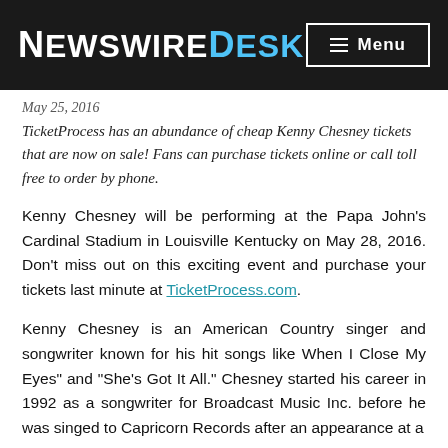NewswireDesk — Menu
May 25, 2016
TicketProcess has an abundance of cheap Kenny Chesney tickets that are now on sale! Fans can purchase tickets online or call toll free to order by phone.
Kenny Chesney will be performing at the Papa John's Cardinal Stadium in Louisville Kentucky on May 28, 2016. Don't miss out on this exciting event and purchase your tickets last minute at TicketProcess.com.
Kenny Chesney is an American Country singer and songwriter known for his hit songs like When I Close My Eyes" and "She's Got It All." Chesney started his career in 1992 as a songwriter for Broadcast Music Inc. before he was singed to Capricorn Records after an appearance at a